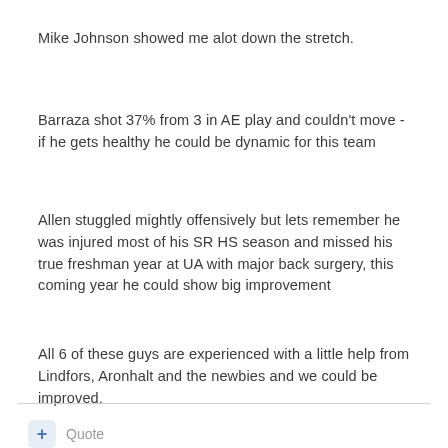Mike Johnson showed me alot down the stretch.
Barraza shot 37% from 3 in AE play and couldn't move - if he gets healthy he could be dynamic for this team
Allen stuggled mightly offensively but lets remember he was injured most of his SR HS season and missed his true freshman year at UA with major back surgery, this coming year he could show big improvement
All 6 of these guys are experienced with a little help from Lindfors, Aronhalt and the newbies and we could be improved.